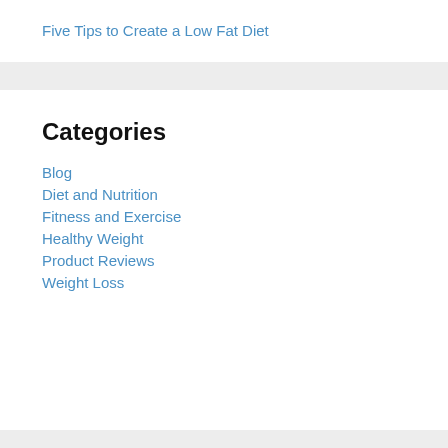Five Tips to Create a Low Fat Diet
Categories
Blog
Diet and Nutrition
Fitness and Exercise
Healthy Weight
Product Reviews
Weight Loss